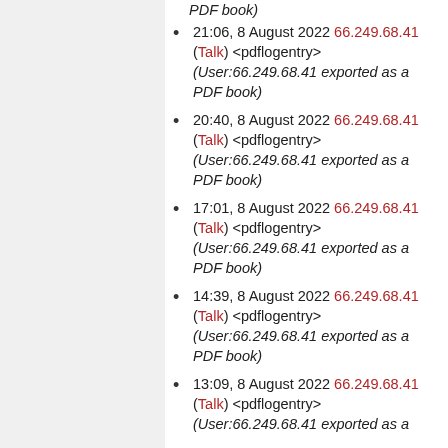(User:66.249.68.41 exported as a PDF book)
21:06, 8 August 2022 66.249.68.41 (Talk) <pdflogentry> (User:66.249.68.41 exported as a PDF book)
20:40, 8 August 2022 66.249.68.41 (Talk) <pdflogentry> (User:66.249.68.41 exported as a PDF book)
17:01, 8 August 2022 66.249.68.41 (Talk) <pdflogentry> (User:66.249.68.41 exported as a PDF book)
14:39, 8 August 2022 66.249.68.41 (Talk) <pdflogentry> (User:66.249.68.41 exported as a PDF book)
13:09, 8 August 2022 66.249.68.41 (Talk) <pdflogentry> (User:66.249.68.41 exported as a PDF book)